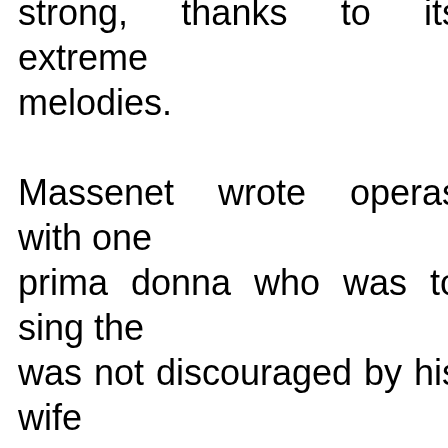strong, thanks to its extreme melodies. Massenet wrote operas with one prima donna who was to sing the was not discouraged by his wife that prima donnas were his brea She encouraged him to send t rather than pearl necklaces. He studied under Ambroise The